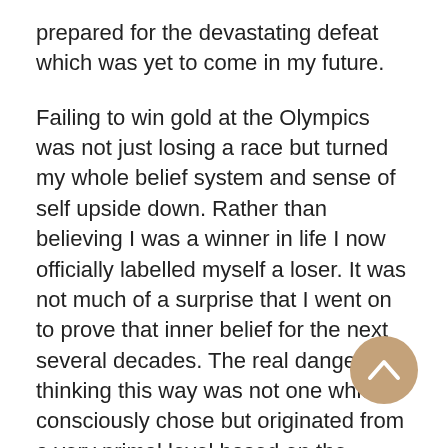prepared for the devastating defeat which was yet to come in my future.
Failing to win gold at the Olympics was not just losing a race but turned my whole belief system and sense of self upside down. Rather than believing I was a winner in life I now officially labelled myself a loser. It was not much of a surprise that I went on to prove that inner belief for the next several decades. The real danger in thinking this way was not one which I consciously chose but originated from a very primal level based on the strong self-beliefs in my subconscious mind. I cannot emphasis enough the importance of keeping a vigilant watch on the seeds which germinate far below the level of our conscious awareness because